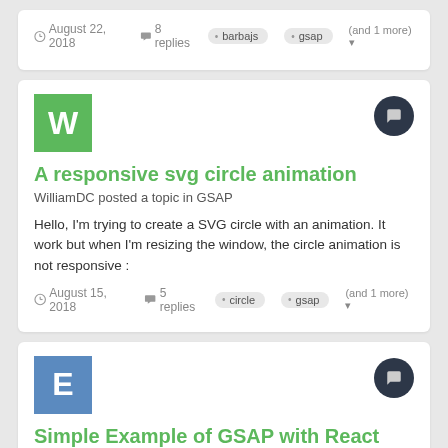August 22, 2018   8 replies   barbajs   gsap   (and 1 more)
[Figure (illustration): Green square avatar with letter W]
A responsive svg circle animation
WilliamDC posted a topic in GSAP
Hello, I'm trying to create a SVG circle with an animation. It work but when I'm resizing the window, the circle animation is not responsive :
August 15, 2018   5 replies   circle   gsap   (and 1 more)
[Figure (illustration): Blue square avatar with letter E]
Simple Example of GSAP with React
env828 posted a topic in GSAP
0down votefavorite I am pretty new to GSAP and like using it so far,